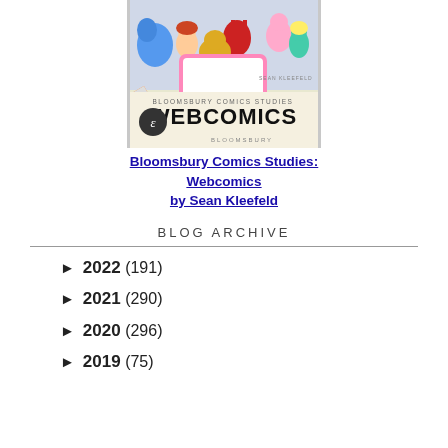[Figure (illustration): Book cover for 'Bloomsbury Comics Studies: Webcomics by Sean Kleefeld' showing cartoon characters riding on a smartphone along with a pencil and comic-style imagery. The cover includes the Bloomsbury publisher logo and the word WEBCOMICS in large bold text.]
Bloomsbury Comics Studies: Webcomics by Sean Kleefeld
BLOG ARCHIVE
► 2022 (191)
► 2021 (290)
► 2020 (296)
► 2019 (75)